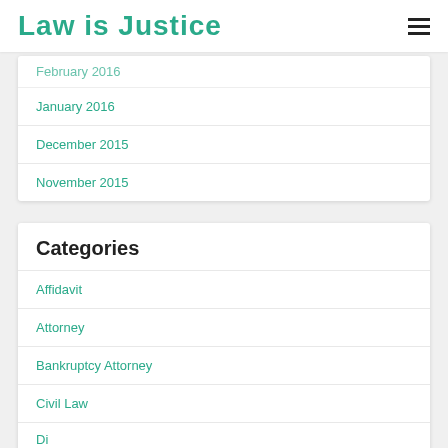Law is Justice
February 2016
January 2016
December 2015
November 2015
Categories
Affidavit
Attorney
Bankruptcy Attorney
Civil Law
Di…